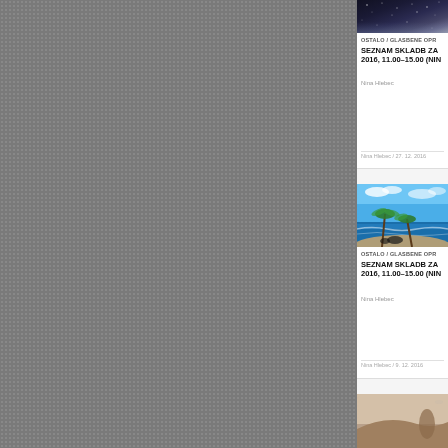[Figure (screenshot): Left side gray textured background panel]
[Figure (photo): Dark starry night sky image at top right, first article card thumbnail]
OSTALO / GLASBENE OPR
SEZNAM SKLADB ZA 2016, 11.00–15.00 (NIN
Nina Hlebec
Nina Hlebec / 27. 12. 2016
[Figure (photo): Tropical beach scene with palm trees and blue water, second article card thumbnail]
OSTALO / GLASBENE OPR
SEZNAM SKLADB ZA 2016, 11.00–15.00 (NIN
Nina Hlebec
Nina Hlebec / 9. 12. 2016
[Figure (photo): Third article card thumbnail, partially visible at bottom]